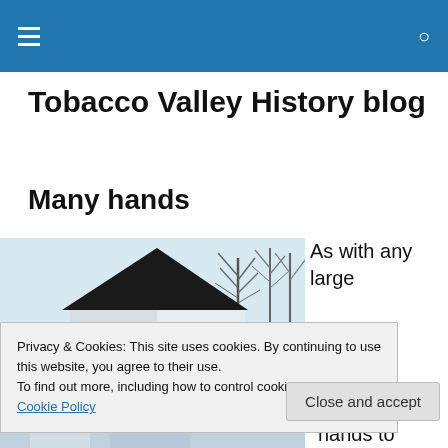Tobacco Valley History blog
Many hands
[Figure (photo): Winter photo of a white house or barn with a triangular gabled roof, bare trees in background, pale blue sky]
As with any large
Privacy & Cookies: This site uses cookies. By continuing to use this website, you agree to their use.
To find out more, including how to control cookies, see here: Cookie Policy
Close and accept
[Figure (photo): Bottom strip showing another winter building photo, partially visible]
hands to